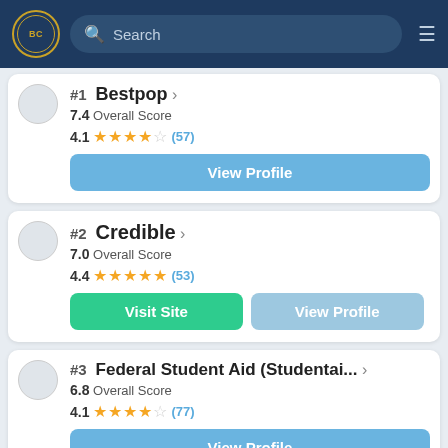BC | Search | ≡
#1 Bestpop › 7.4 Overall Score 4.1 ★★★★☆ (57)
View Profile
#2 Credible › 7.0 Overall Score 4.4 ★★★★½ (53)
Visit Site | View Profile
#3 Federal Student Aid (Studentai... › 6.8 Overall Score 4.1 ★★★★☆ (77)
View Profile